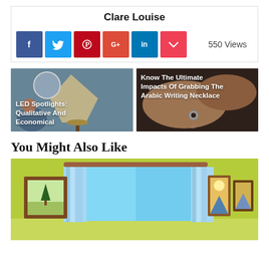Clare Louise
f  Twitter  Pinterest  G+  in  Pocket  550 Views
[Figure (photo): Two related article cards side by side: left card shows 'LED Spotlights: Qualitative And Economical' over an image of a lamp and child; right card shows 'Know The Ultimate Impacts Of Grabbing The Arabic Writing Necklace' over a photo of hands with jewelry.]
You Might Also Like
[Figure (illustration): Illustrated room interior with green walls, blue curtains on a window, and framed pictures — a living room illustration.]